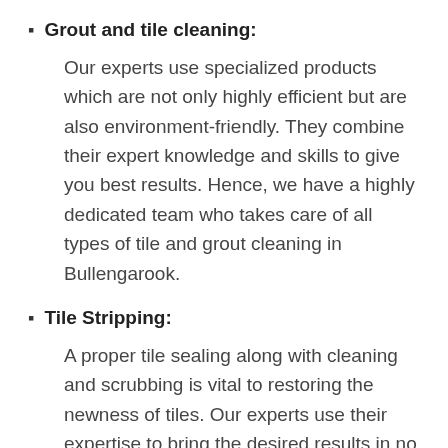Grout and tile cleaning:
Our experts use specialized products which are not only highly efficient but are also environment-friendly. They combine their expert knowledge and skills to give you best results. Hence, we have a highly dedicated team who takes care of all types of tile and grout cleaning in Bullengarook.
Tile Stripping:
A proper tile sealing along with cleaning and scrubbing is vital to restoring the newness of tiles. Our experts use their expertise to bring the desired results in no time. They have all the necessary equipment to carry out the tile